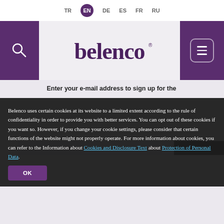TR  EN  DE  ES  FR  RU
[Figure (logo): Belenco brand logo in dark purple/maroon stylized lowercase text on light background, flanked by purple navigation bars with search icon on left and hamburger menu button on right]
Enter your e-mail address to sign up for the
Belenco uses certain cookies at its website to a limited extent according to the rule of confidentiality in order to provide you with better services. You can opt out of these cookies if you want so. However, if you change your cookie settings, please consider that certain functions of the website might not properly operate. For more information about cookies, you can refer to the Information about Cookies and Disclosure Text about Protection of Personal Data.
OK